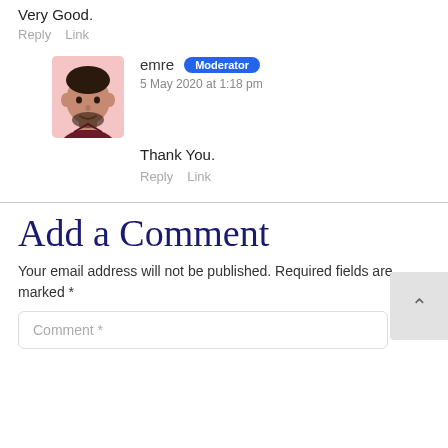Very Good.
Reply   Link
emre  Moderator
5 May 2020 at 1:18 pm
Thank You.
Reply   Link
Add a Comment
Your email address will not be published. Required fields are marked *
Comment *